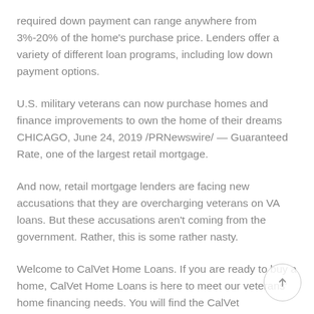required down payment can range anywhere from 3%-20% of the home's purchase price. Lenders offer a variety of different loan programs, including low down payment options.
U.S. military veterans can now purchase homes and finance improvements to own the home of their dreams CHICAGO, June 24, 2019 /PRNewswire/ — Guaranteed Rate, one of the largest retail mortgage.
And now, retail mortgage lenders are facing new accusations that they are overcharging veterans on VA loans. But these accusations aren't coming from the government. Rather, this is some rather nasty.
Welcome to CalVet Home Loans. If you are ready to buy a home, CalVet Home Loans is here to meet our veterans' home financing needs. You will find the CalVet